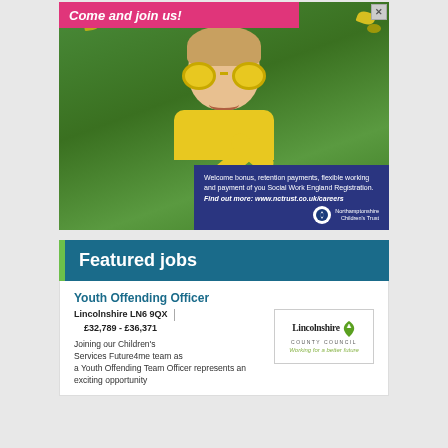[Figure (photo): Advertisement banner showing a child in a yellow outfit lying on grass wearing heart-shaped yellow sunglasses, smiling. Top-left pink banner reads 'Come and join us!'. Bottom-right dark blue box with text about welcome bonus, retention payments, flexible working and payment of Social Work England Registration, with URL www.nctrust.co.uk/careers and Northamptonshire Children's Trust logo.]
Featured jobs
Youth Offending Officer
Lincolnshire LN6 9QX | £32,789 - £36,371
[Figure (logo): Lincolnshire County Council logo with tagline 'Working for a better future']
Joining our Children's Services Future4me team as a Youth Offending Team Officer represents an exciting opportunity